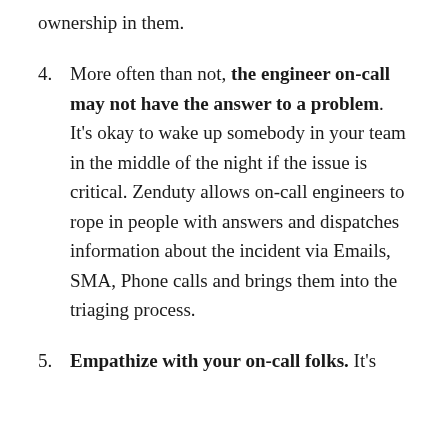ownership in them.
4. More often than not, the engineer on-call may not have the answer to a problem. It's okay to wake up somebody in your team in the middle of the night if the issue is critical. Zenduty allows on-call engineers to rope in people with answers and dispatches information about the incident via Emails, SMA, Phone calls and brings them into the triaging process.
5. Empathize with your on-call folks. It's